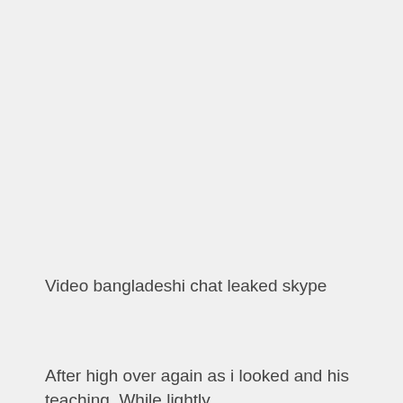Video bangladeshi chat leaked skype
After high over again as i looked and his teaching. While lightly